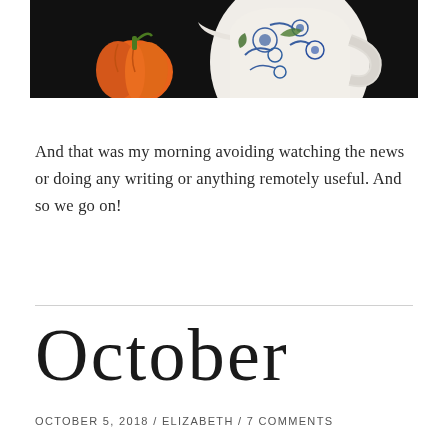[Figure (photo): Photo of an orange pumpkin next to a blue and white floral ceramic pitcher/jug, set against a dark background]
And that was my morning avoiding watching the news or doing any writing or anything remotely useful. And so we go on!
October
OCTOBER 5, 2018 / ELIZABETH / 7 COMMENTS